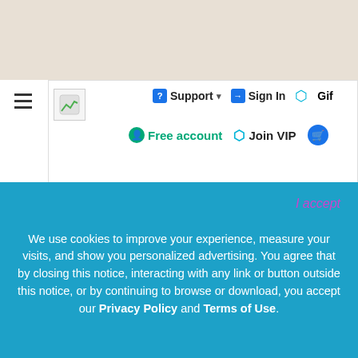[Figure (screenshot): Website navigation bar with Support, Sign In, Gift, Free account, Join VIP, and cart buttons, plus hamburger menu and logo]
[Figure (photo): Three women wearing floral mini skirts, showing legs from waist down against a light gray background]
We use cookies to improve your experience, measure your visits, and show you personalized advertising. You agree that by closing this notice, interacting with any link or button outside this notice, or by continuing to browse or download, you accept our Privacy Policy and Terms of Use.
I accept